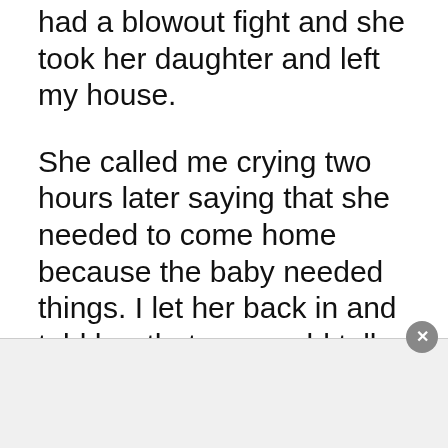had a blowout fight and she took her daughter and left my house.
She called me crying two hours later saying that she needed to come home because the baby needed things. I let her back in and told her that we would talk in the morning. I woke up and she was gone again with the baby. I called and her cell phone was off. She later called me to talk and I gave her two options. To come home and I would continue to support them or to leave and live with her boyfriend (as she has always threatened that she would do)